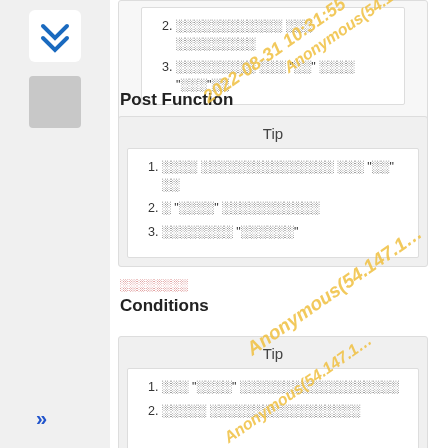3. ░░░░░░░░░ ░░░ "░░" ░░░░ "░░░"░░
Post Function
[Figure (other): Tip box with numbered list items in non-Latin script]
░░░░░░░░
Conditions
[Figure (other): Tip box with numbered list items in non-Latin script (partial)]